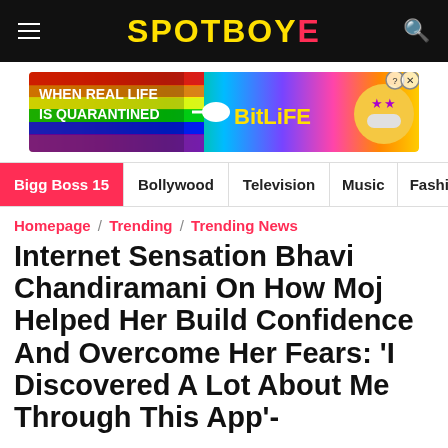SPOTBOYE
[Figure (infographic): BitLife advertisement banner with rainbow gradient background, text 'WHEN REAL LIFE IS QUARANTINED' and BitLife logo]
Bigg Boss 15 | Bollywood | Television | Music | Fashion
Homepage / Trending / Trending News
Internet Sensation Bhavi Chandiramani On How Moj Helped Her Build Confidence And Overcome Her Fears: 'I Discovered A Lot About Me Through This App'-